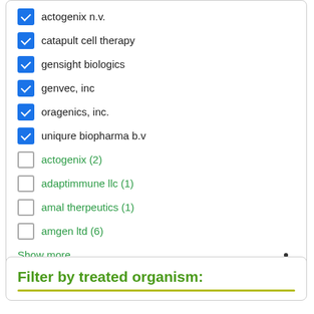actogenix n.v. [checked]
catapult cell therapy [checked]
gensight biologics [checked]
genvec, inc [checked]
oragenics, inc. [checked]
uniqure biopharma b.v [checked]
actogenix (2) [unchecked]
adaptimmune llc (1) [unchecked]
amal therpeutics (1) [unchecked]
amgen ltd (6) [unchecked]
Show more
Filter by treated organism: